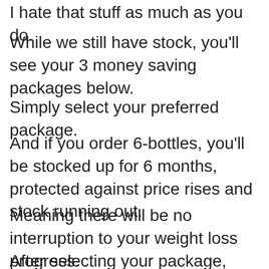I hate that stuff as much as you do.
While we still have stock, you'll see your 3 money saving packages below.
Simply select your preferred package.
And if you order 6-bottles, you'll be stocked up for 6 months, protected against price rises and stock running out.
Meaning there will be no interruption to your weight loss progress.
After selecting your package, you'll be taken to our Secure order Page where you'll confirm